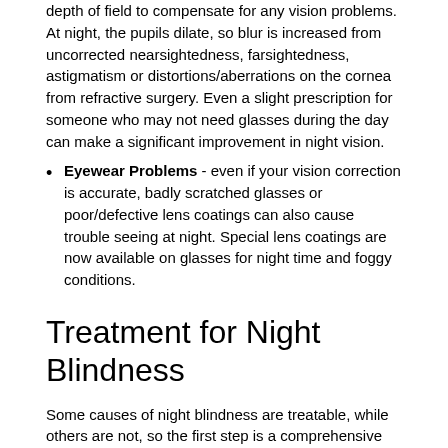depth of field to compensate for any vision problems. At night, the pupils dilate, so blur is increased from uncorrected nearsightedness, farsightedness, astigmatism or distortions/aberrations on the cornea from refractive surgery. Even a slight prescription for someone who may not need glasses during the day can make a significant improvement in night vision.
Eyewear Problems - even if your vision correction is accurate, badly scratched glasses or poor/defective lens coatings can also cause trouble seeing at night. Special lens coatings are now available on glasses for night time and foggy conditions.
Treatment for Night Blindness
Some causes of night blindness are treatable, while others are not, so the first step is a comprehensive eye exam to determine what the root of the problem is. Treatments range from simply purchasing a special pair of glasses, lens coatings or contact lenses to wear at night (for optical issues such as myopia) to surgery (to correct the underlying problem such as cataracts), to